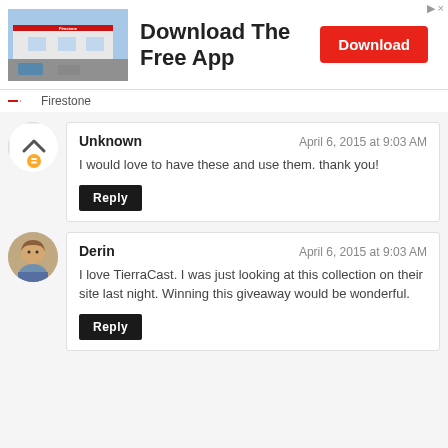[Figure (screenshot): Firestone advertisement banner with store photo, 'Download The Free App' headline, and red Download button]
Unknown
April 6, 2015 at 9:03 AM
I would love to have these and use them. thank you!
Reply
Derin
April 6, 2015 at 9:03 AM
I love TierraCast. I was just looking at this collection on their site last night. Winning this giveaway would be wonderful.
Reply